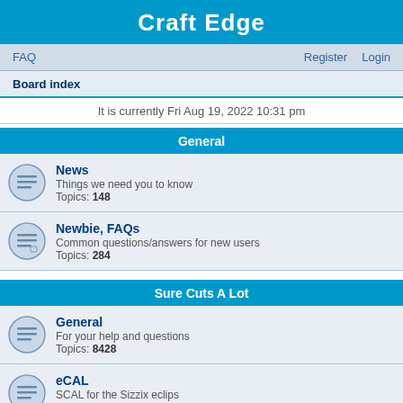Craft Edge
FAQ   Register   Login
Board index
It is currently Fri Aug 19, 2022 10:31 pm
General
News
Things we need you to know
Topics: 148
Newbie, FAQs
Common questions/answers for new users
Topics: 284
Sure Cuts A Lot
General
For your help and questions
Topics: 8428
eCAL
SCAL for the Sizzix eclips
Topics: 231
Troubleshooting eClips
Topics: 88